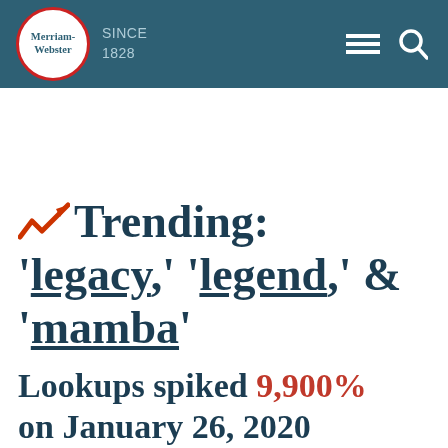Merriam-Webster SINCE 1828
Trending: ‘legacy,’ ‘legend,’ & ‘mamba’
Lookups spiked 9,900% on January 26, 2020